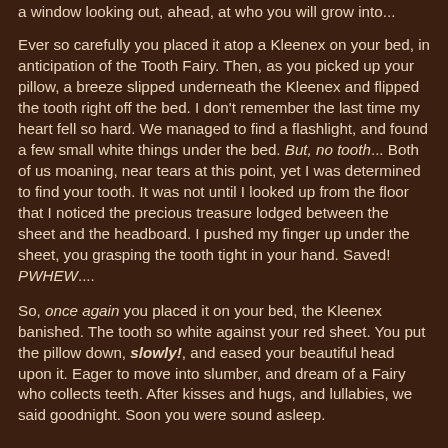a window looking out, ahead, at who you will grow into...
Ever so carefully you placed it atop a Kleenex on your bed, in anticipation of the Tooth Fairy. Then, as you picked up your pillow, a breeze slipped underneath the Kleenex and flipped the tooth right off the bed. I don't remember the last time my heart fell so hard. We managed to find a flashlight, and found a few small white things under the bed. But, no tooth... Both of us moaning, near tears at this point, yet I was determined to find your tooth. It was not until I looked up from the floor that I noticed the precious treasure lodged between the sheet and the headboard. I pushed my finger up under the sheet, you grasping the tooth tight in your hand. Saved! PWHEW....
So, once again you placed it on your bed, the Kleenex banished. The tooth so white against your red sheet. You put the pillow down, slowly!, and eased your beautiful head upon it. Eager to move into slumber, and dream of a Fairy who collects teeth. After kisses and hugs, and lullabies, we said goodnight. Soon you were sound asleep.